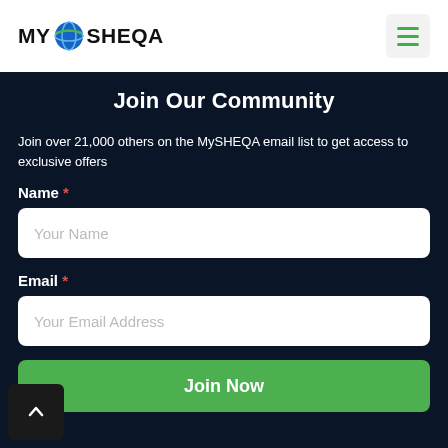[Figure (logo): MySHEQA logo with globe icon in header]
Join Our Community
Join over 21,000 others on the MySHEQA email list to get access to exclusive offers
Name *
Your Name
Email *
Your Email Address
Join Now